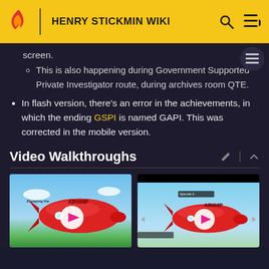HENRY STICKMIN WIKI
screen.
This is also happening during Government Supported Private Investigator route, during archives room QTE.
In flash version, there's an error in the achievements, in which the ending GSPI is named GAPI. This was corrected in the mobile version.
Video Walkthroughs
[Figure (screenshot): Video thumbnail showing a cartoon red airship with a play button overlay]
[Figure (screenshot): Video thumbnail showing Episode 3 with a cartoon red airship and play button overlay]